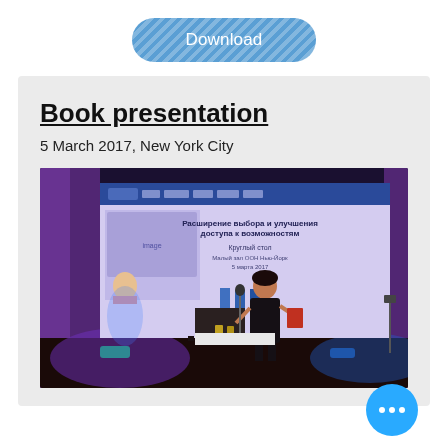Download
Book presentation
5 March 2017, New York City
[Figure (photo): Woman in black dress presenting on stage in front of a large projection screen showing a Russian-language presentation, with blue stage lighting and drapes in the background.]
Book presentation